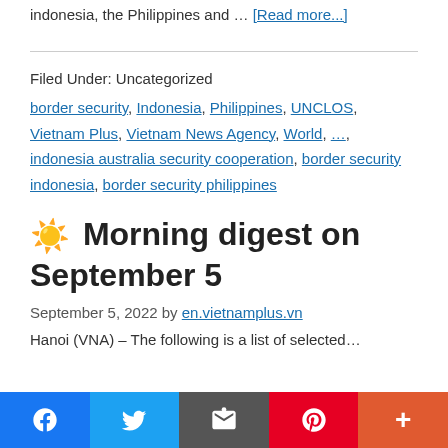indonesia, the Philippines and … [Read more...]
Filed Under: Uncategorized
border security, Indonesia, Philippines, UNCLOS, Vietnam Plus, Vietnam News Agency, World, …, indonesia australia security cooperation, border security indonesia, border security philippines
🌤 Morning digest on September 5
September 5, 2022 by en.vietnamplus.vn
Hanoi (VNA) – The following is a list of selected…